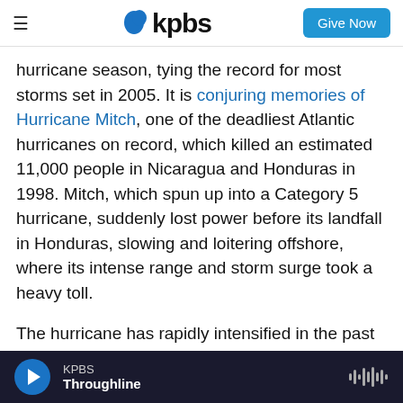kpbs — Give Now
hurricane season, tying the record for most storms set in 2005. It is conjuring memories of Hurricane Mitch, one of the deadliest Atlantic hurricanes on record, which killed an estimated 11,000 people in Nicaragua and Honduras in 1998. Mitch, which spun up into a Category 5 hurricane, suddenly lost power before its landfall in Honduras, slowing and loitering offshore, where its intense range and storm surge took a heavy toll.
The hurricane has rapidly intensified in the past couple of days, becoming an "extremely dangerous storm" that led Nicaragua to issue a red alert
KPBS — Throughline